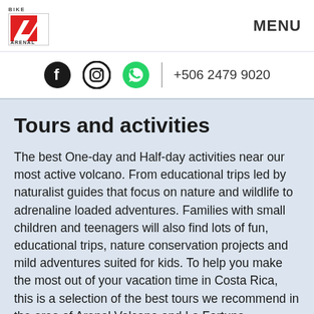BIKE ARENAL — MENU
+506 2479 9020
Tours and activities
The best One-day and Half-day activities near our most active volcano. From educational trips led by naturalist guides that focus on nature and wildlife to adrenaline loaded adventures. Families with small children and teenagers will also find lots of fun, educational trips, nature conservation projects and mild adventures suited for kids. To help you make the most out of your vacation time in Costa Rica, this is a selection of the best tours we recommend in the area of Arenal Volcano and La Fortuna.